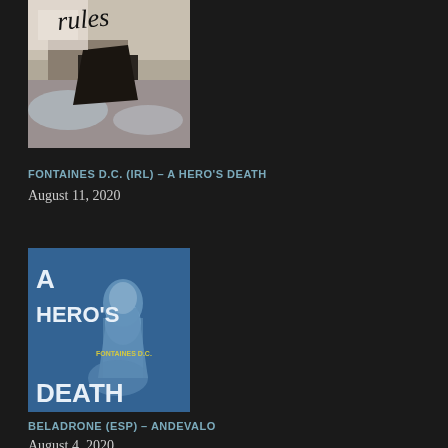[Figure (photo): Album cover for 'Rules' - shows handwritten 'rules' text over abstract rocky/icy imagery in white, black and brown tones]
FONTAINES D.C. (IRL) – A HERO'S DEATH
August 11, 2020
[Figure (photo): Album cover for 'A Hero's Death' by Fontaines D.C. - blue background with classical statue, text reads 'A HERO'S DEATH' in white and 'FONTAINES D.C.' in yellow]
BELADRONE (ESP) – ANDEVALO
August 4, 2020